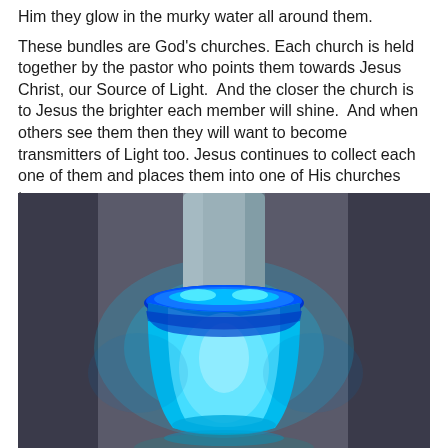Him they glow in the murky water all around them.
These bundles are God's churches. Each church is held together by the pastor who points them towards Jesus Christ, our Source of Light.  And the closer the church is to Jesus the brighter each member will shine.  And when others see them then they will want to become transmitters of Light too. Jesus continues to collect each one of them and places them into one of His churches too.
[Figure (photo): A glowing cyan/blue vessel or container emitting bright blue-cyan light, set against a dark gray background. The object resembles a glowing cup or pot with a cylindrical form above it, photographed in a dark setting.]